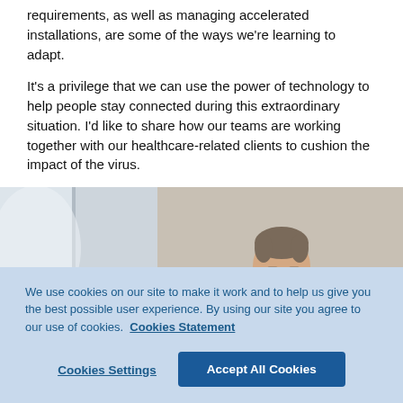requirements, as well as managing accelerated installations, are some of the ways we're learning to adapt.
It's a privilege that we can use the power of technology to help people stay connected during this extraordinary situation. I'd like to share how our teams are working together with our healthcare-related clients to cushion the impact of the virus.
[Figure (photo): Photo of a person with glasses leaning over a surface, wearing a teal/green shirt, in an office or workspace setting.]
We use cookies on our site to make it work and to help us give you the best possible user experience. By using our site you agree to our use of cookies.  Cookies Statement
Cookies Settings | Accept All Cookies